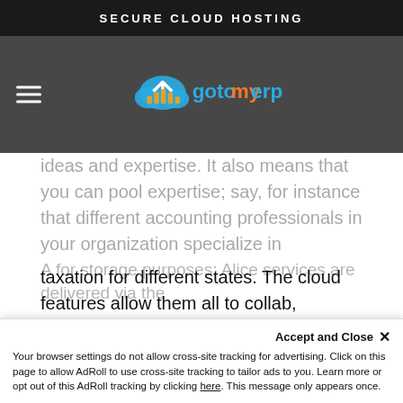SECURE CLOUD HOSTING
[Figure (logo): gotomyerp logo with cloud and bar chart icon, cyan and orange text]
ideas and expertise. It also means that you can pool expertise; say, for instance that different accounting professionals in your organization specialize in taxation for different states. The cloud features allow them all to collab, minimizing any errors.
Cost-effective
Just like other cloud hosting options, Sage implementation is very cost-effective. Your Sage cloud hosting provider will bear all the important costs, such as installation, implementation, maintenance, and hosting. You'll only be required to pay a monthly rental that will be very little compared to accumulated costs.
A for storage purposes; Alice services are delivered via the
Accept and Close ✕
Your browser settings do not allow cross-site tracking for advertising. Click on this page to allow AdRoll to use cross-site tracking to tailor ads to you. Learn more or opt out of this AdRoll tracking by clicking here. This message only appears once.